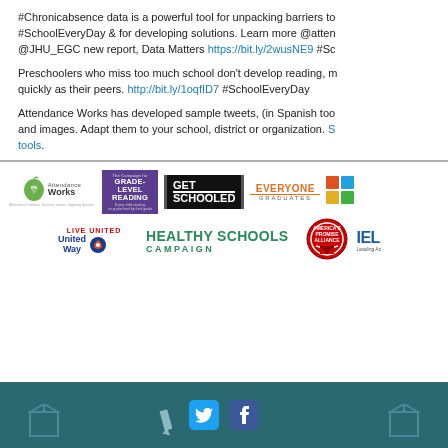#Chronicabsence data is a powerful tool for unpacking barriers to #SchoolEveryDay & for developing solutions. Learn more @atten @JHU_EGC new report, Data Matters https://bit.ly/2wusNE9 #Sc
Preschoolers who miss too much school don't develop reading, m quickly as their peers. http://bit.ly/1oqfID7 #SchoolEveryDay
Attendance Works has developed sample tweets, (in Spanish too and images. Adapt them to your school, district or organization. S tools.
[Figure (logo): Partner organization logos: Attendance Works, Campaign for Grade-Level Reading, Get Schooled, Everyone Graduates, Live United United Way, Healthy Schools Campaign, America's Promise Alliance, IEL Leading Ac]
[Figure (infographic): Footer with teal background showing Twitter and Facebook social media icons and decorative box icons]